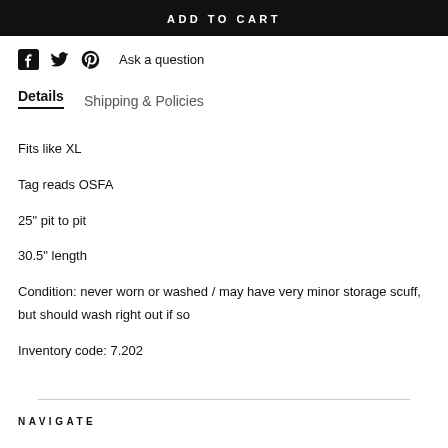ADD TO CART
Ask a question
Details  Shipping & Policies
Fits like XL
Tag reads OSFA
25" pit to pit
30.5" length
Condition: never worn or washed / may have very minor storage scuff, but should wash right out if so
Inventory code: 7.202
NAVIGATE